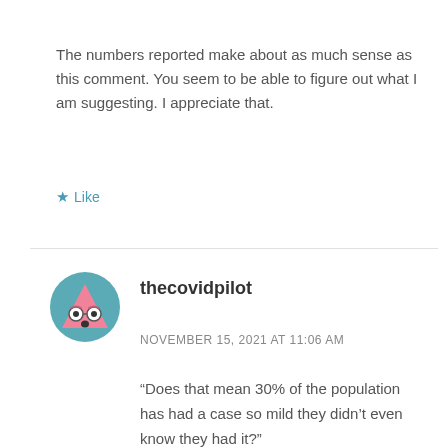The numbers reported make about as much sense as this comment. You seem to be able to figure out what I am suggesting. I appreciate that.
★ Like
[Figure (illustration): Circular avatar with teal background featuring a cartoon pink triangle character with glasses and an open mouth expression]
thecovidpilot
NOVEMBER 15, 2021 AT 11:06 AM
“Does that mean 30% of the population has had a case so mild they didn’t even know they had it?”